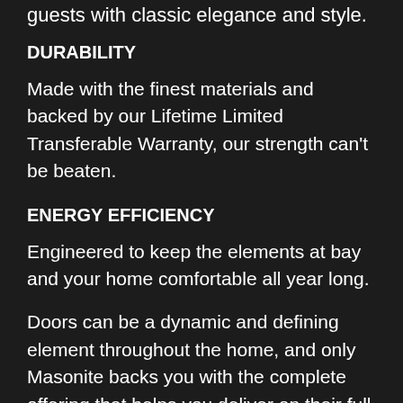guests with classic elegance and style.
DURABILITY
Made with the finest materials and backed by our Lifetime Limited Transferable Warranty, our strength can't be beaten.
ENERGY EFFICIENCY
Engineered to keep the elements at bay and your home comfortable all year long.
Doors can be a dynamic and defining element throughout the home, and only Masonite backs you with the complete offering that helps you deliver on their full potential. No one matches our comprehensive selection of both exterior and interior choices, giving you access to the styles, finishes, and details to tailor a complementary look that flows seamlessly from room